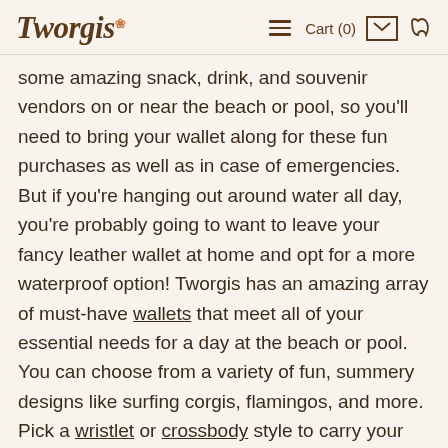Tworgis | Cart (0) [envelope] [phone]
some amazing snack, drink, and souvenir vendors on or near the beach or pool, so you'll need to bring your wallet along for these fun purchases as well as in case of emergencies. But if you're hanging out around water all day, you're probably going to want to leave your fancy leather wallet at home and opt for a more waterproof option! Tworgis has an amazing array of must-have wallets that meet all of your essential needs for a day at the beach or pool. You can choose from a variety of fun, summery designs like surfing corgis, flamingos, and more. Pick a wristlet or crossbody style to carry your essential cards and cash hands-free!
Contact Us
No B...